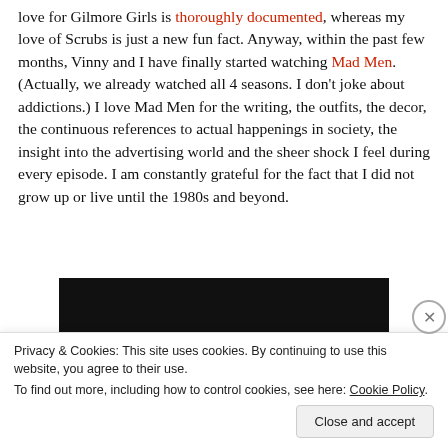love for Gilmore Girls is thoroughly documented, whereas my love of Scrubs is just a new fun fact. Anyway, within the past few months, Vinny and I have finally started watching Mad Men. (Actually, we already watched all 4 seasons. I don't joke about addictions.) I love Mad Men for the writing, the outfits, the decor, the continuous references to actual happenings in society, the insight into the advertising world and the sheer shock I feel during every episode. I am constantly grateful for the fact that I did not grow up or live until the 1980s and beyond.
[Figure (photo): Mad Men title card: black background with red 'MAD' and white 'MEN' text in bold capital letters]
Privacy & Cookies: This site uses cookies. By continuing to use this website, you agree to their use. To find out more, including how to control cookies, see here: Cookie Policy